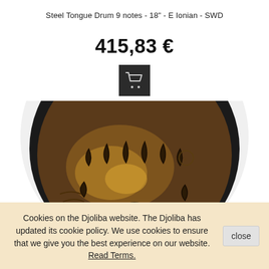Steel Tongue Drum 9 notes - 18" - E Ionian - SWD
415,83 €
[Figure (screenshot): Black square add-to-cart button with shopping cart icon]
[Figure (photo): Top-down view of a steel tongue drum with 9 tongue indentations, dark bronze/brown metallic finish, showing the tongue patterns on the surface]
Cookies on the Djoliba website. The Djoliba has updated its cookie policy. We use cookies to ensure that we give you the best experience on our website. Read Terms.